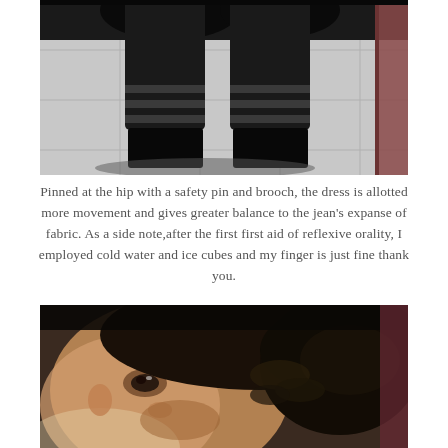[Figure (photo): A photo taken from above showing a person's legs wearing dark layered clothing and black boots, standing on a tiled floor. A brown wooden post or door frame is visible on the right side.]
Pinned at the hip with a safety pin and brooch, the dress is allotted more movement and gives greater balance to the jean's expanse of fabric. As a side note,after the first first aid of reflexive orality, I employed cold water and ice cubes and my finger is just fine thank you.
[Figure (photo): A close-up selfie-style photo of a person's face partially visible, showing eyes and dark curly/wavy hair styled up. The image is slightly blurred and taken at an angle.]